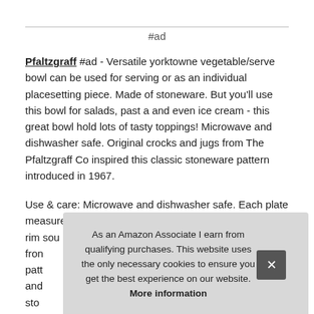#ad
Pfaltzgraff #ad - Versatile yorktowne vegetable/serve bowl can be used for serving or as an individual placesetting piece. Made of stoneware. But you'll use this bowl for salads, past a and even ice cream - this great bowl hold lots of tasty toppings! Microwave and dishwasher safe. Original crocks and jugs from The Pfaltzgraff Co inspired this classic stoneware pattern introduced in 1967.
Use & care: Microwave and dishwasher safe. Each plate measures approximately 8-5/8 inch diameter. Set of 4 rim sou from patt and stor
As an Amazon Associate I earn from qualifying purchases. This website uses the only necessary cookies to ensure you get the best experience on our website. More information